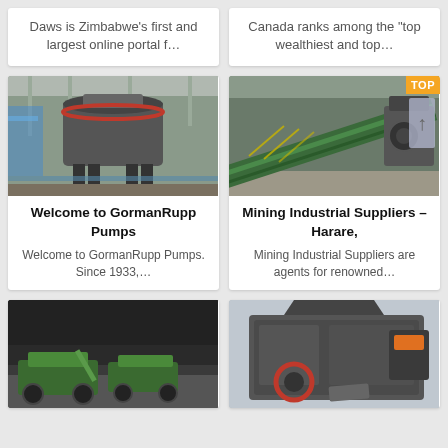Daws is Zimbabwe's first and largest online portal f…
Canada ranks among the "top wealthiest and top…
[Figure (photo): Industrial crusher machine in factory setting]
[Figure (photo): Mining conveyor belt equipment in warehouse]
Welcome to GormanRupp Pumps
Welcome to GormanRupp Pumps. Since 1933,…
Mining Industrial Suppliers – Harare,
Mining Industrial Suppliers are agents for renowned…
[Figure (photo): Green mining equipment outdoors near rock face]
[Figure (photo): Large industrial crusher machine]